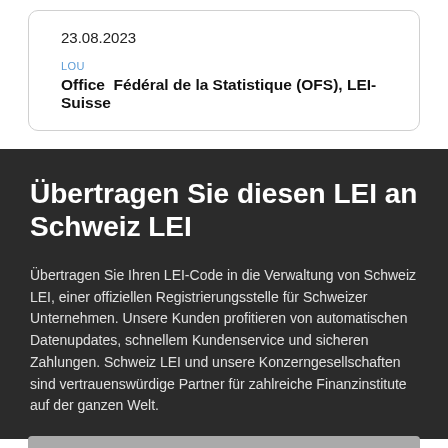23.08.2023
LOU
Office Fédéral de la Statistique (OFS), LEI-Suisse
Übertragen Sie diesen LEI an Schweiz LEI
Übertragen Sie Ihren LEI-Code in die Verwaltung von Schweiz LEI, einer offiziellen Registrierungsstelle für Schweizer Unternehmen. Unsere Kunden profitieren von automatischen Datenupdates, schnellem Kundenservice und sicheren Zahlungen. Schweiz LEI und unsere Konzerngesellschaften sind vertrauenswürdige Partner für zahlreiche Finanzinstitute auf der ganzen Welt.